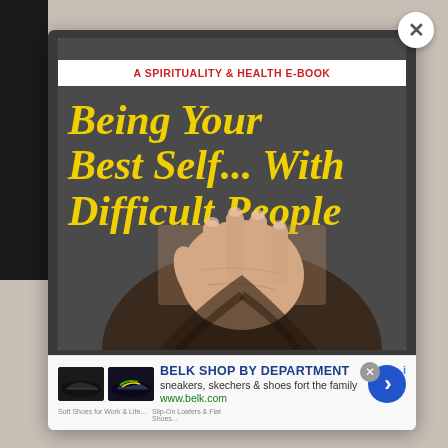[Figure (illustration): Screenshot of a web popup showing an e-book cover for 'Being Your Best Self... With Difficult People' — a Spirituality & Health e-book. The cover has a dark background with bold yellow italic title text and a photo of a woman's hand raised in a stop gesture covering her face/hair. A close (X) button appears top-right. Below the popup is a Belk shoe advertisement.]
A SPIRITUALITY & HEALTH E-BOOK
Being Your Best Self... With Difficult People
BELK SHOP BY DEPARTMENT
sneakers, skechers & shoes fort the family
www.belk.com